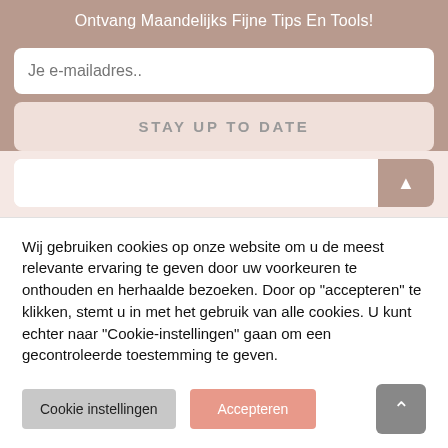Ontvang Maandelijks Fijne Tips En Tools!
Je e-mailadres..
STAY UP TO DATE
Birthday
Wij gebruiken cookies op onze website om u de meest relevante ervaring te geven door uw voorkeuren te onthouden en herhaalde bezoeken. Door op "accepteren" te klikken, stemt u in met het gebruik van alle cookies. U kunt echter naar "Cookie-instellingen" gaan om een gecontroleerde toestemming te geven.
Cookie instellingen
Accepteren